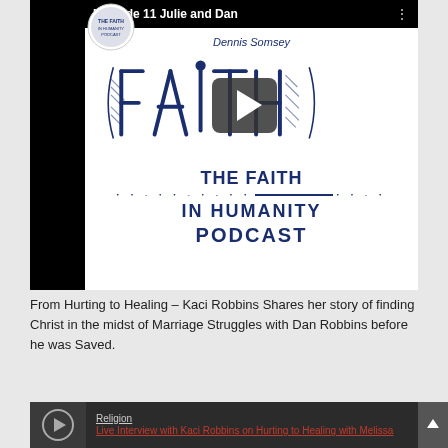[Figure (screenshot): YouTube-style video thumbnail for 'Episode 11 Julie and Dan' of The Faith In Humanity Podcast, featuring hand-drawn blue lettering on white background with play button overlay. Text includes 'Dennis Somsey' in cursive.]
From Hurting to Healing – Kaci Robbins Shares her story of finding Christ in the midst of Marriage Struggles with Dan Robbins before he was Saved.
[Figure (screenshot): Audio player widget showing Religion category and link: 'Live Interview with Kaci Robbins on Hurting to Healing with Melissa']